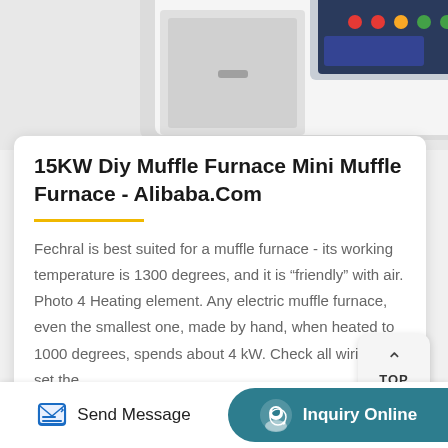[Figure (photo): Top portion of a white industrial muffle furnace with control panel showing colored indicator lights, partially visible, cropped at top of page]
15KW Diy Muffle Furnace Mini Muffle Furnace - Alibaba.Com
Fechral is best suited for a muffle furnace - its working temperature is 1300 degrees, and it is “friendly” with air. Photo 4 Heating element. Any electric muffle furnace, even the smallest one, made by hand, when heated to 1000 degrees, spends about 4 kW. Check all wiring and set the…
[Figure (photo): Bottom portion of a blue and white laboratory muffle furnace, partially visible, cropped at bottom of page]
Send Message
Inquiry Online